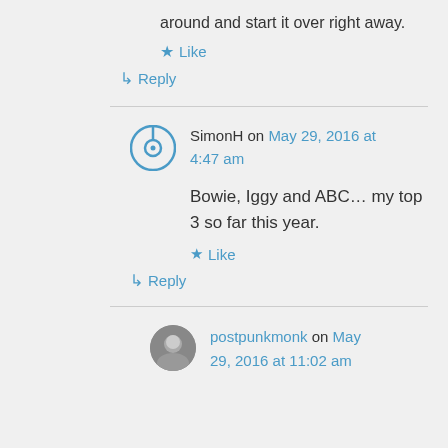around and start it over right away.
★ Like
↳ Reply
SimonH on May 29, 2016 at 4:47 am
Bowie, Iggy and ABC… my top 3 so far this year.
★ Like
↳ Reply
postpunkmonk on May 29, 2016 at 11:02 am